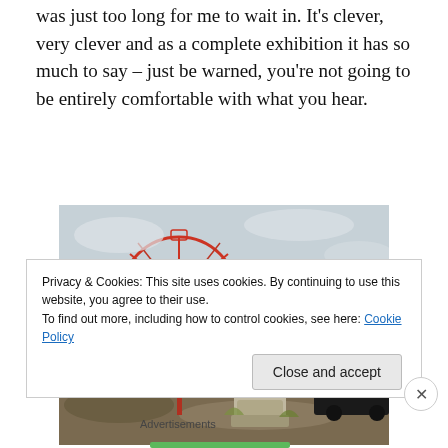was just too long for me to wait in. It's clever, very clever and as a complete exhibition it has so much to say – just be warned, you're not going to be entirely comfortable with what you hear.
[Figure (photo): Outdoor scene showing an old rusted ferris wheel with red metal frame against an overcast sky, with a large concrete mushroom-shaped sculpture in the foreground and a police vehicle visible in the background.]
Privacy & Cookies: This site uses cookies. By continuing to use this website, you agree to their use.
To find out more, including how to control cookies, see here: Cookie Policy
Close and accept
Advertisements